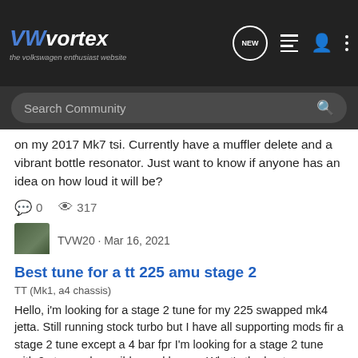VWvortex - the volkswagen enthusiast website
Search Community
on my 2017 Mk7 tsi. Currently have a muffler delete and a vibrant bottle resonator. Just want to know if anyone has an idea on how loud it will be?
0  317  TVW20 · Mar 16, 2021  Tags: 1.8t  cts downpipe  muffler delete  stage 2  tsi
Best tune for a tt 225 amu stage 2
TT (Mk1, a4 chassis)
Hello, i'm looking for a stage 2 tune for my 225 swapped mk4 jetta. Still running stock turbo but I have all supporting mods fir a stage 2 tune except a 4 bar fpr I'm looking for a stage 2 tune with 2 step and possibly crackle pop. What's the best